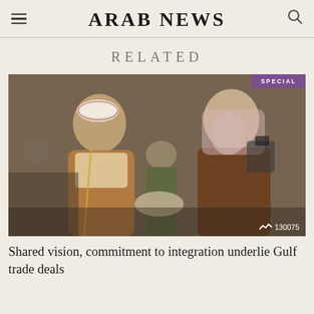ARAB NEWS
RELATED
[Figure (photo): Two men in traditional Middle Eastern attire shaking hands at what appears to be an official reception. A soldier in military uniform stands in the background along with a camera operator. A purple 'SPECIAL' badge appears in the top right corner. Article number 130075 appears in the bottom right.]
Shared vision, commitment to integration underlie Gulf trade deals